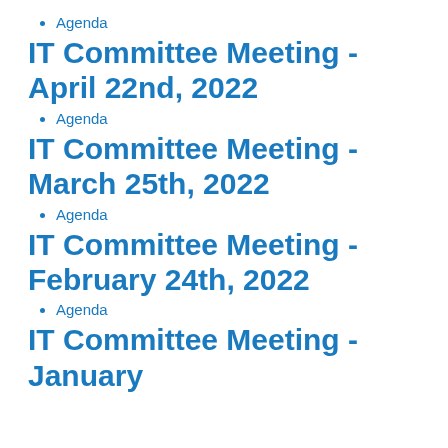Agenda
IT Committee Meeting - April 22nd, 2022
Agenda
IT Committee Meeting - March 25th, 2022
Agenda
IT Committee Meeting - February 24th, 2022
Agenda
IT Committee Meeting - January